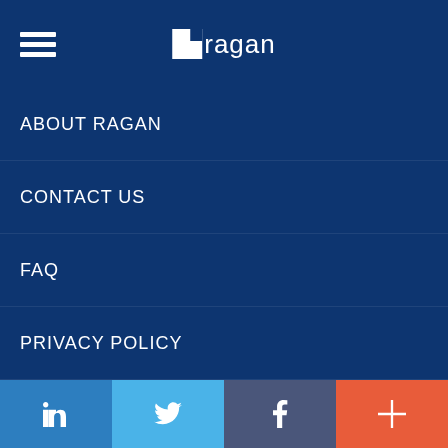Ragan (logo with hamburger menu)
ABOUT RAGAN
CONTACT US
FAQ
PRIVACY POLICY
RECEIVE OUR NEWSLETTER
SITE MAP
STORE
MEMBERSHIPS
BITS & PIECES
LinkedIn | Twitter | Facebook | More (+)